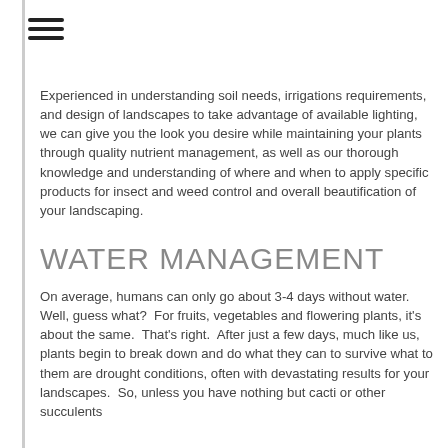Experienced in understanding soil needs, irrigations requirements, and design of landscapes to take advantage of available lighting, we can give you the look you desire while maintaining your plants through quality nutrient management, as well as our thorough knowledge and understanding of where and when to apply specific products for insect and weed control and overall beautification of your landscaping.
WATER MANAGEMENT
On average, humans can only go about 3-4 days without water.  Well, guess what?  For fruits, vegetables and flowering plants, it's about the same.  That's right.  After just a few days, much like us, plants begin to break down and do what they can to survive what to them are drought conditions, often with devastating results for your landscapes.  So, unless you have nothing but cacti or other succulents